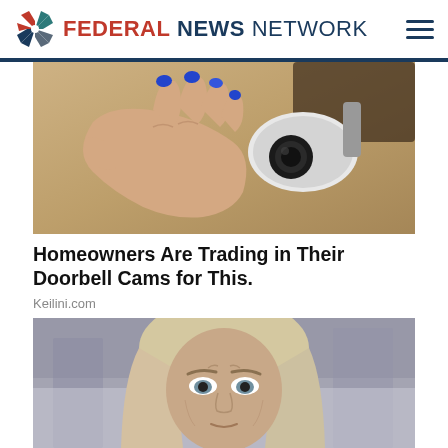FEDERAL NEWS NETWORK
[Figure (photo): A hand with blue painted nails holding a white security/surveillance camera against a sandy/stucco wall]
Homeowners Are Trading in Their Doorbell Cams for This.
Keilini.com
[Figure (photo): Portrait of a middle-aged woman with blonde-gray hair looking concerned, with blurred urban background]